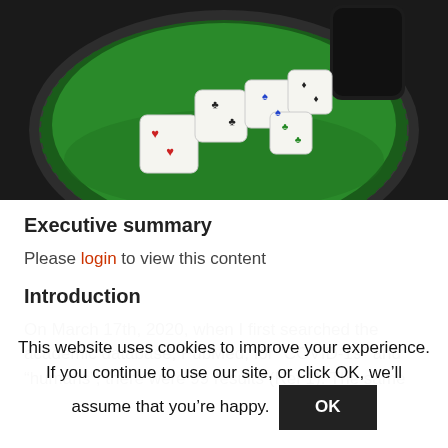[Figure (photo): Photograph of colorful dice scattered on a green felt-lined leather dice tray with a dice cup behind them.]
Executive summary
Please login to view this content
Introduction
On March 17th, 2020, when I first searched the academic database, PubMed, for “COVID-19” and “humans”, there were 99 results (Ref 1). The same
This website uses cookies to improve your experience. If you continue to use our site, or click OK, we’ll assume that you’re happy.